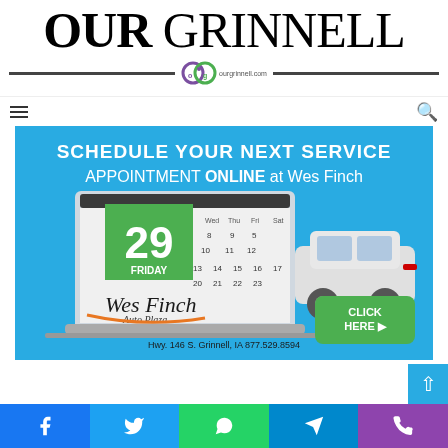OUR GRINNELL — ourgrinnell.com
[Figure (screenshot): Wes Finch Auto Plaza advertisement: Schedule your next service appointment ONLINE at Wes Finch. Shows a laptop with calendar open to Friday the 29th, a white GMC SUV, the Wes Finch Auto Plaza logo, and a green CLICK HERE button. Address: Hwy. 146 S. Grinnell, IA 877.529.8594]
[Figure (infographic): Social media sharing bar with Facebook, Twitter, WhatsApp, Telegram, and Phone icons]